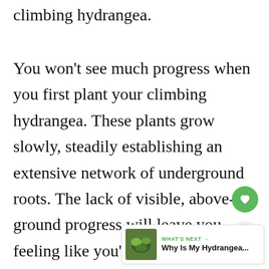climbing hydrangea.
You won't see much progress when you first plant your climbing hydrangea. These plants grow slowly, steadily establishing an extensive network of underground roots. The lack of visible, above-ground progress will leave you feeling like you've planted a dud.
[Figure (other): Green circular heart/like button]
[Figure (other): Share button (circular, light grey)]
[Figure (other): What's Next card with hydrangea thumbnail image and text 'Why Is My Hydrangea...']